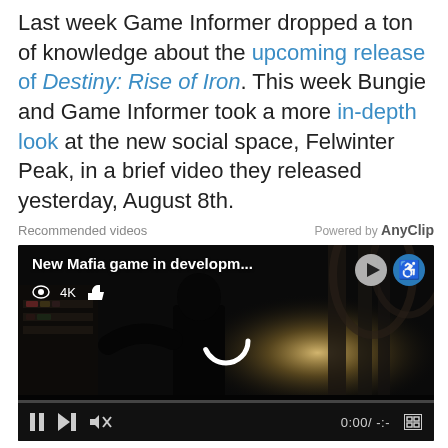Last week Game Informer dropped a ton of knowledge about the upcoming release of Destiny: Rise of Iron. This week Bungie and Game Informer took a more in-depth look at the new social space, Felwinter Peak, in a brief video they released yesterday, August 8th.
Recommended videos   Powered by AnyClip
[Figure (screenshot): Video player showing 'New Mafia game in developm...' with a dark gothic cathedral scene, a silhouetted figure, play controls bar at bottom showing 0:00 / -:-, pause, skip, mute buttons, and a loading spinner. Top right has play and accessibility icons.]